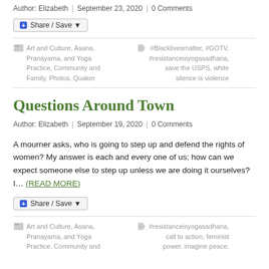Author: Elizabeth | September 23, 2020 | 0 Comments
[Figure (other): Share / Save button widget]
Art and Culture, Asana, Pranayama, and Yoga Practice, Community and Family, Photos, Quaker
#Blacklivesmatter, #GOTV, #resistanceisyogasadhana, save the USPS, white silence is violence
Questions Around Town
Author: Elizabeth | September 19, 2020 | 0 Comments
A mourner asks, who is going to step up and defend the rights of women? My answer is each and every one of us; how can we expect someone else to step up unless we are doing it ourselves? I… (READ MORE)
[Figure (other): Share / Save button widget]
Art and Culture, Asana, Pranayama, and Yoga Practice, Community and
#resistanceisyogasadhana, call to action, feminist power, imagine peace,